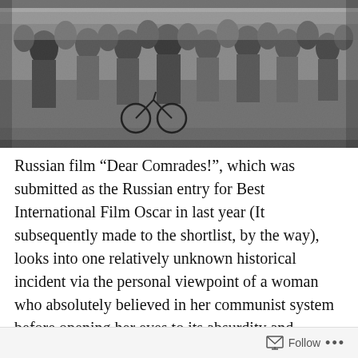[Figure (photo): Black and white photograph of a large crowd of people marching or walking together, many men visible, one person with a bicycle, taken outdoors.]
Russian film “Dear Comrades!”, which was submitted as the Russian entry for Best International Film Oscar in last year (It subsequently made to the shortlist, by the way), looks into one relatively unknown historical incident via the personal viewpoint of a woman who absolutely believed in her communist system before opening her eyes to its absurdity and ruthlessness. While it initially amuses us a lot with several absurd moments of communist
Follow ...